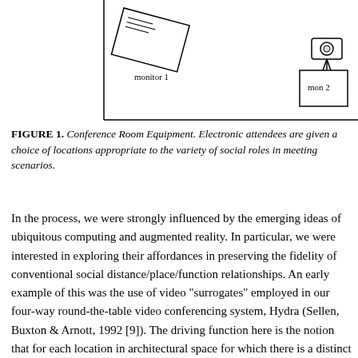[Figure (schematic): Conference room equipment schematic showing monitor 1 (tilted), a camera on tripod, mon 2, mon 3, a video recorder/player unit labeled 0025, and chairs arranged around the room.]
FIGURE 1. Conference Room Equipment. Electronic attendees are given a choice of locations appropriate to the variety of social roles in meeting scenarios.
In the process, we were strongly influenced by the emerging ideas of ubiquitous computing and augmented reality. In particular, we were interested in exploring their affordances in preserving the fidelity of conventional social distance/place/function relationships. An early example of this was the use of video "surrogates" employed in our four-way round-the-table video conferencing system, Hydra (Sellen, Buxton & Arnott, 1992 [9]). The driving function here is the notion that for each location in architectural space for which there is a distinct social function, the affordances should be provided to enable that function to be undertaken from that location by any party, be they attending physically or electronically.
We will see examples of this in practice later in the paper. For our